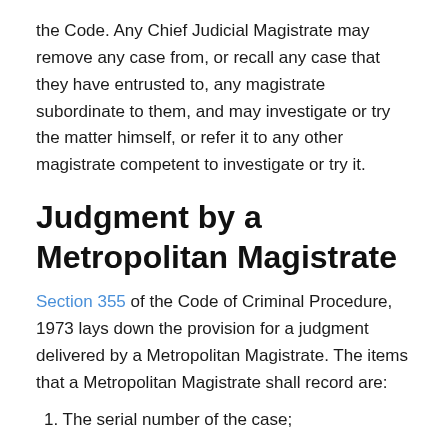the Code. Any Chief Judicial Magistrate may remove any case from, or recall any case that they have entrusted to, any magistrate subordinate to them, and may investigate or try the matter himself, or refer it to any other magistrate competent to investigate or try it.
Judgment by a Metropolitan Magistrate
Section 355 of the Code of Criminal Procedure, 1973 lays down the provision for a judgment delivered by a Metropolitan Magistrate. The items that a Metropolitan Magistrate shall record are:
1. The serial number of the case;
2. The date of the commission of the offence;